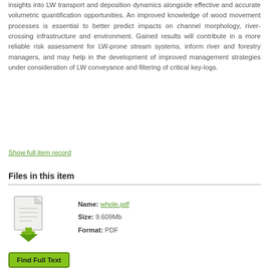insights into LW transport and deposition dynamics alongside effective and accurate volumetric quantification opportunities. An improved knowledge of wood movement processes is essential to better predict impacts on channel morphology, river-crossing infrastructure and environment. Gained results will contribute in a more reliable risk assessment for LW-prone stream systems, inform river and forestry managers, and may help in the development of improved management strategies under consideration of LW conveyance and filtering of critical key-logs.
Show full item record
Files in this item
[Figure (illustration): File icon showing a document page with a green download arrow below it]
Name: whole.pdf
Size: 9.609Mb
Format: PDF
Find Full Text